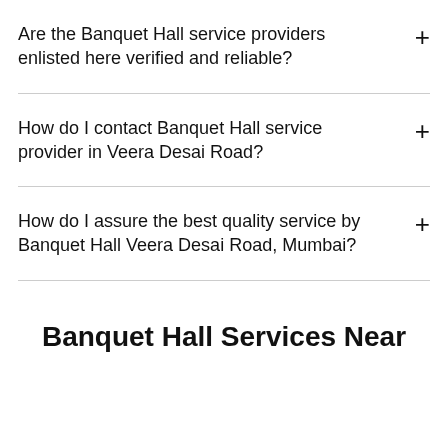Are the Banquet Hall service providers enlisted here verified and reliable?
How do I contact Banquet Hall service provider in Veera Desai Road?
How do I assure the best quality service by Banquet Hall Veera Desai Road, Mumbai?
Banquet Hall Services Near